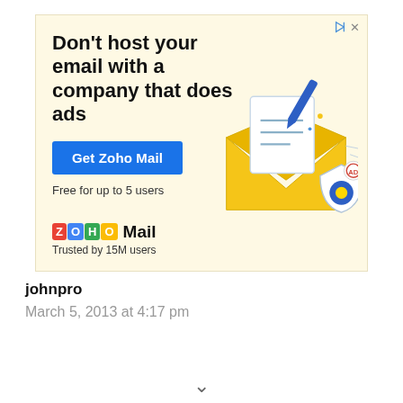[Figure (illustration): Zoho Mail advertisement banner with yellow background. Headline: Don't host your email with a company that does ads. Blue CTA button: Get Zoho Mail. Subtext: Free for up to 5 users. Illustration of email envelope with letter and shield. Zoho Mail logo with colored letter tiles. Trusted by 15M users.]
johnpro
March 5, 2013 at 4:17 pm